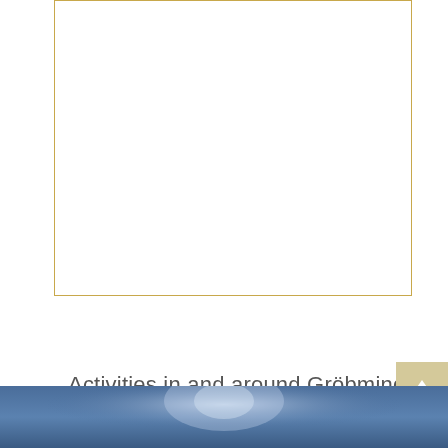[Figure (other): Empty white rectangle with gold/yellow border, partial top of page]
Activities in and around Gröbming
[Figure (photo): Bottom strip of a photo with blue/dark blue tones, partially visible at bottom of page]